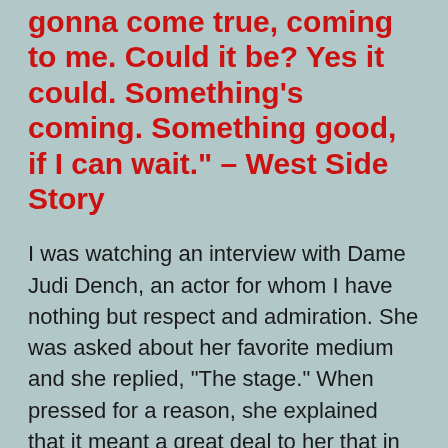gonna come true, coming to me. Could it be? Yes it could. Something's coming. Something good, if I can wait." – West Side Story
I was watching an interview with Dame Judi Dench, an actor for whom I have nothing but respect and admiration. She was asked about her favorite medium and she replied, "The stage." When pressed for a reason, she explained that it meant a great deal to her that in order to see her perform on stage, people had to actually go out and purchase a ticket and then they have to actually go to the